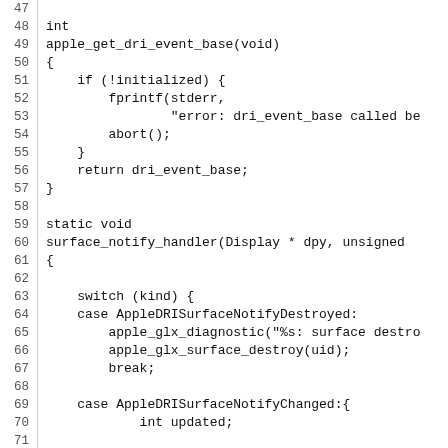Source code listing lines 47-76, C code for apple DRI event base and surface notify handler functions